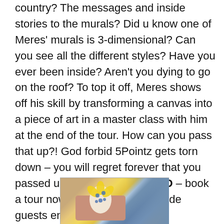country? The messages and inside stories to the murals? Did u know one of Meres' murals is 3-dimensional? Can you see all the different styles? Have you ever been inside? Aren't you dying to go on the roof? To top it off, Meres shows off his skill by transforming a canvas into a piece of art in a master class with him at the end of the tour. How can you pass that up?! God forbid 5Pointz gets torn down – you will regret forever that you passed up this opportunity – GO – book a tour now and join the world wide guests enjoying this tour! Come early/stay late, photograph all the art, buy some souvenirs like the painted light bulbs by Meres and other art available by other artists. Get to the Pointz, 5 Pointz!
[Figure (photo): A colorful painted light bulb with blue and yellow floral or peacock feather design, held in someone's hand against a grey background.]